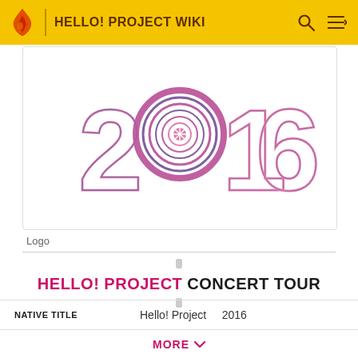HELLO! PROJECT WIKI
[Figure (logo): Hello! Project 2016 concert tour logo showing stylized text '2016' in pink and purple concentric circle design]
Logo
HELLO! PROJECT CONCERT TOUR
| Field | Value |
| --- | --- |
| NATIVE TITLE | Hello! Project  2016 |
| OPENING DATE | March 19, 2016 |
| CLOSING DATE | March 20, 2016 |
MORE